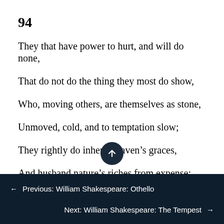94
They that have power to hurt, and will do none,
That do not do the thing they most do show,
Who, moving others, are themselves as stone,
Unmoved, cold, and to temptation slow;
They rightly do inherit heaven’s graces,
And husband nature’s riches from expense;
They are the lords and owners of their faces,
← Previous: William Shakespeare: Othello
Next: William Shakespeare: The Tempest →